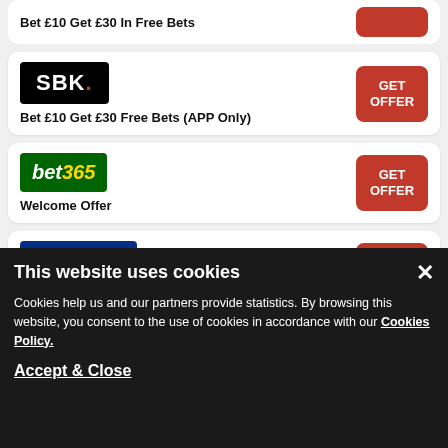Bet £10 Get £30 In Free Bets
[Figure (logo): SBK logo - black background with white text SBK.]
Bet £10 Get £30 Free Bets (APP Only)
[Figure (logo): bet365 logo - green background with white 'bet' and yellow '365' in italic]
Welcome Offer
[Figure (logo): BETFRED logo - blue background with red italic bold text BETFRED]
Bet £10 Get £60 in Bonuses
This website uses cookies
Cookies help us and our partners provide statistics. By browsing this website, you consent to the use of cookies in accordance with our Cookies Policy.
Accept & Close